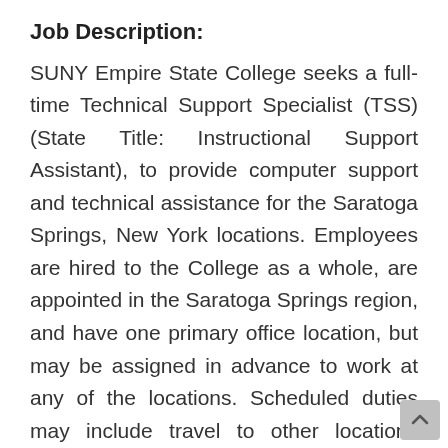Job Description:
SUNY Empire State College seeks a full-time Technical Support Specialist (TSS) (State Title: Instructional Support Assistant), to provide computer support and technical assistance for the Saratoga Springs, New York locations. Employees are hired to the College as a whole, are appointed in the Saratoga Springs region, and have one primary office location, but may be assigned in advance to work at any of the locations. Scheduled duties may include travel to other locations across New York State. Regular involvement in statewide locations and College activities including the option of